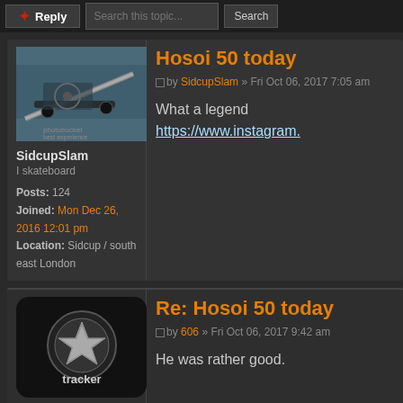Reply | Search this topic... | Search
Hosoi 50 today
by SidcupSlam » Fri Oct 06, 2017 7:05 am
What a legend https://www.instagram.
SidcupSlam
I skateboard

Posts: 124
Joined: Mon Dec 26, 2016 12:01 pm
Location: Sidcup / south east London
Re: Hosoi 50 today
by 606 » Fri Oct 06, 2017 9:42 am
He was rather good.
606
I got new wheels

Posts: 405
Joined: Sat Apr 26, 2008 9:55 am